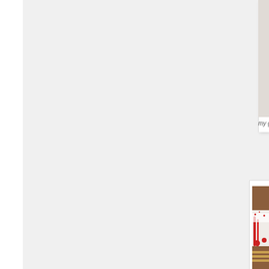[Figure (photo): Top portion of a white frosted baked good or cake with white snowflake-shaped decorations on top, on a white plate or surface]
my gingerbread sc
[Figure (photo): A decorated gingerbread train made with candy canes, pretzel sticks as railroad tracks, red sugar sprinkles, Hershey Kiss Christmas tree candy, red candy pieces, and white royal icing frosting, photographed on a white plate]